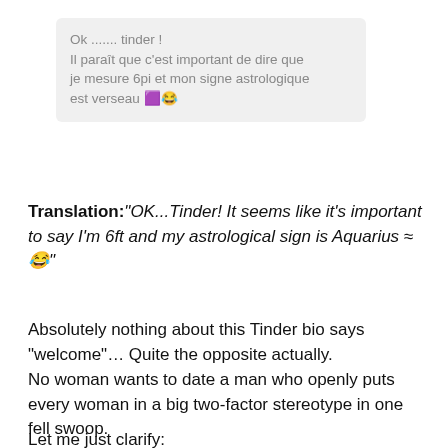[Figure (screenshot): Screenshot of a French Tinder bio text bubble on a light gray background reading: 'Ok ....... tinder ! Il paraît que c'est important de dire que je mesure 6pi et mon signe astrologique est verseau [emoji][emoji]']
Translation: "OK...Tinder! It seems like it's important to say I'm 6ft and my astrological sign is Aquarius ≈ 😂"
Absolutely nothing about this Tinder bio says "welcome"... Quite the opposite actually.
No woman wants to date a man who openly puts every woman in a big two-factor stereotype in one fell swoop.
Let me just clarify: